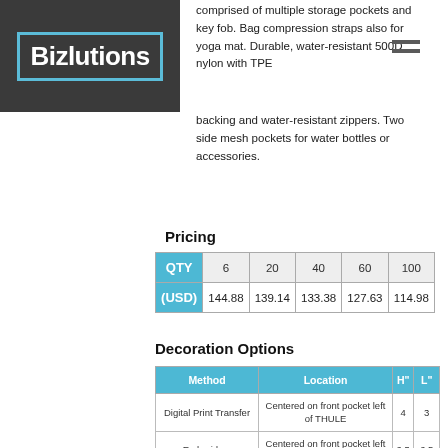[Figure (logo): Bizlutions logo in white text with blue border on dark grey background]
comprised of multiple storage pockets and key fob. Bag compression straps also for yoga mat. Durable, water-resistant 500D nylon with TPE backing and water-resistant zippers. Two side mesh pockets for water bottles or accessories.
Pricing
| QTY | 6 | 20 | 40 | 60 | 100 |
| --- | --- | --- | --- | --- | --- |
| (USD) | 144.88 | 139.14 | 133.38 | 127.63 | 114.98 |
Decoration Options
| Method | Location | H" | L" |
| --- | --- | --- | --- |
| Digital Print Transfer | Centered on front pocket left of THULE | 4 | 3 |
| Embroidery | Centered on front pocket left of THULE | 2.5 | 2.5 |
| Digital Print Transfer - PhotoGrafixx - 4 | Centered on front pocket left of THULE | 4 | 3 |
| Digital Print Transfer | Art Vertical North to South - Centered on user's right strap bet | 4 | 0.75 |